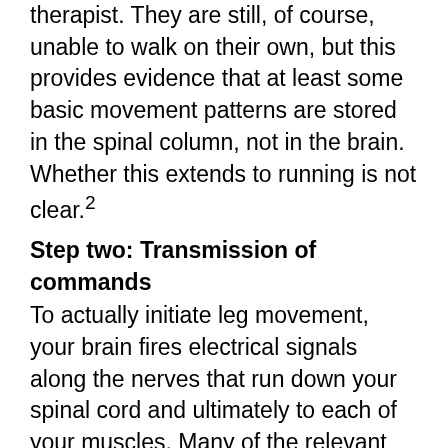therapist.  They are still, of course, unable to walk on their own, but this provides evidence that at least some basic movement patterns are stored in the spinal column, not in the brain.  Whether this extends to running is not clear.²
Step two: Transmission of commands
To actually initiate leg movement, your brain fires electrical signals along the nerves that run down your spinal cord and ultimately to each of your muscles.  Many of the relevant nerves that connect to the major muscles involved in running exit the spinal cord at the last few vertebrae of the lower back and the sacrum, then fan out into the different muscles of the leg.
Step three: Muscular execution of